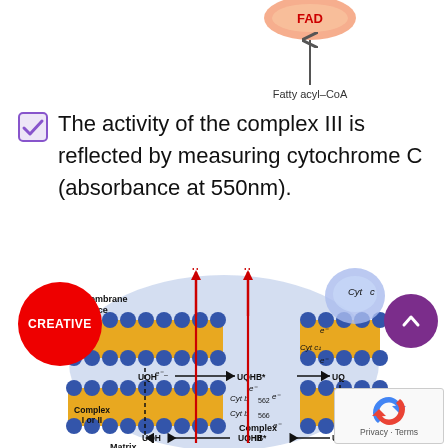[Figure (illustration): Top portion of a metabolic diagram showing FAD and Fatty acyl-CoA with an upward arrow, partially cropped at top of page]
The activity of the complex III is reflected by measuring cytochrome C (absorbance at 550nm).
[Figure (illustration): Diagram of the mitochondrial electron transport chain Complex III (cytochrome bc1 complex) showing intermembrane space, matrix, UQH2/UQ cycles, cytochrome b562, b566, c1, Cyt c, electron transfers, and H+ proton pumping. Labels: Intermembrane space, Cyt c, Cyt c1, UQHB, UQHB*, UQ, Cyt b562, Cyt b566, Complex I or II, Complex III, Matrix, e- electron transfers, H+ arrows.]